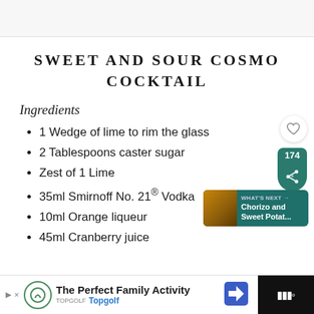SWEET AND SOUR COSMO COCKTAIL
Ingredients
1 Wedge of lime to rim the glass
2 Tablespoons caster sugar
Zest of 1 Lime
35ml Smirnoff No. 21® Vodka
10ml Orange liqueur
45ml Cranberry juice
The Perfect Family Activity Topgolf